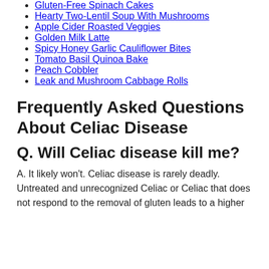Gluten-Free Spinach Cakes
Hearty Two-Lentil Soup With Mushrooms
Apple Cider Roasted Veggies
Golden Milk Latte
Spicy Honey Garlic Cauliflower Bites
Tomato Basil Quinoa Bake
Peach Cobbler
Leak and Mushroom Cabbage Rolls
Frequently Asked Questions About Celiac Disease
Q. Will Celiac disease kill me?
A. It likely won't. Celiac disease is rarely deadly. Untreated and unrecognized Celiac or Celiac that does not respond to the removal of gluten leads to a higher